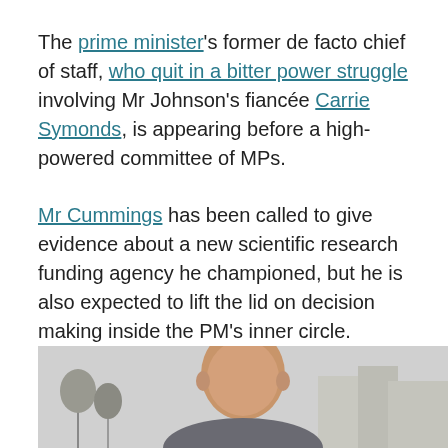The prime minister's former de facto chief of staff, who quit in a bitter power struggle involving Mr Johnson's fiancée Carrie Symonds, is appearing before a high-powered committee of MPs.
Mr Cummings has been called to give evidence about a new scientific research funding agency he championed, but he is also expected to lift the lid on decision making inside the PM's inner circle.
Please use Chrome browser for a more accessible video player
[Figure (photo): Photo of a bald man outdoors with trees and buildings in the background, visible from shoulders up]